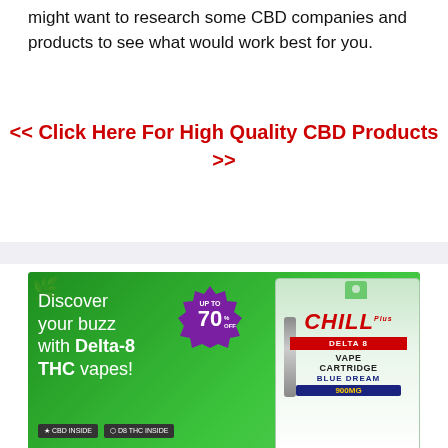might want to research some CBD companies and products to see what would work best for you.
<< Click Here For High Quality CBD Products >>
[Figure (illustration): Advertisement banner for Chill Plus Delta 8 Vape Cartridge - Blue Dream 900MG, with green background, 'UP TO 70% OFF' badge, text 'Discover your buzz with Delta-8 THC vapes!', product package image, and buttons 'CBD INSIDE' and 'D8 THC INSIDE']